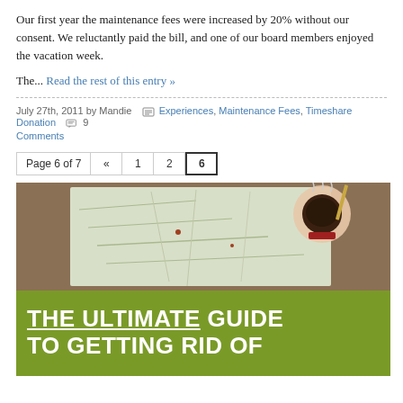Our first year the maintenance fees were increased by 20% without our consent. We reluctantly paid the bill, and one of our board members enjoyed the vacation week.
The... Read the rest of this entry »
July 27th, 2011 by Mandie   Experiences, Maintenance Fees, Timeshare Donation   9 Comments
Page 6 of 7  «  1  2  6
[Figure (photo): Top-down photo of hands holding a coffee cup over a paper map on a wooden table, with a green banner overlay reading THE ULTIMATE GUIDE TO GETTING RID OF]